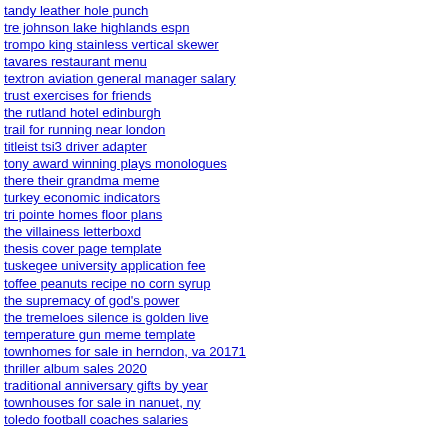tandy leather hole punch
tre johnson lake highlands espn
trompo king stainless vertical skewer
tavares restaurant menu
textron aviation general manager salary
trust exercises for friends
the rutland hotel edinburgh
trail for running near london
titleist tsi3 driver adapter
tony award winning plays monologues
there their grandma meme
turkey economic indicators
tri pointe homes floor plans
the villainess letterboxd
thesis cover page template
tuskegee university application fee
toffee peanuts recipe no corn syrup
the supremacy of god's power
the tremeloes silence is golden live
temperature gun meme template
townhomes for sale in herndon, va 20171
thriller album sales 2020
traditional anniversary gifts by year
townhouses for sale in nanuet, ny
toledo football coaches salaries